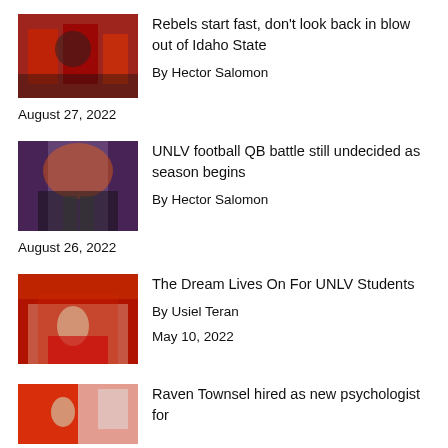[Figure (photo): Football players in red uniforms on the field with a coach]
Rebels start fast, don't look back in blow out of Idaho State
By Hector Salomon
August 27, 2022
[Figure (photo): UNLV football team running out with pyrotechnics and smoke]
UNLV football QB battle still undecided as season begins
By Hector Salomon
August 26, 2022
[Figure (photo): Woman sitting at a desk with red tablecloth in an office setting]
The Dream Lives On For UNLV Students
By Usiel Teran
May 10, 2022
[Figure (photo): Person sitting in a red and white office room]
Raven Townsel hired as new psychologist for